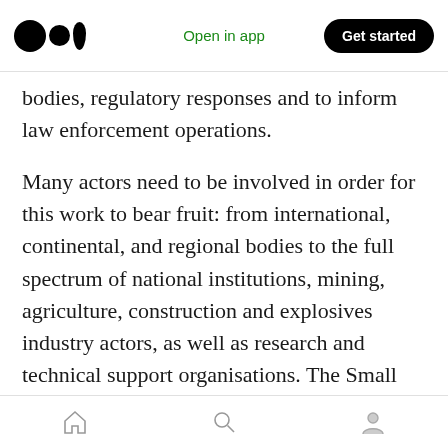Open in app | Get started
bodies, regulatory responses and to inform law enforcement operations.
Many actors need to be involved in order for this work to bear fruit: from international, continental, and regional bodies to the full spectrum of national institutions, mining, agriculture, construction and explosives industry actors, as well as research and technical support organisations. The Small Arms Survey's baseline research and dialogue work in this area will hopefully make a modest but catalytic contribution to this effort.
[home] [search] [profile]